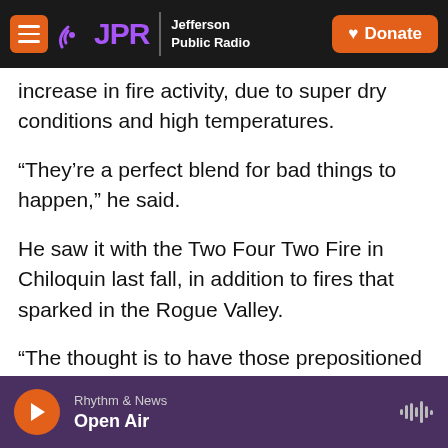JPR Jefferson Public Radio | Donate
increase in fire activity, due to super dry conditions and high temperatures.
“They’re a perfect blend for bad things to happen,” he said.
He saw it with the Two Four Two Fire in Chiloquin last fall, in addition to fires that sparked in the Rogue Valley.
“The thought is to have those prepositioned resources close to where the fire is likely to start,” Hitchcock said. “Then you have a better chance of keeping it small and putting it out before it gets big.
Rhythm & News | Open Air